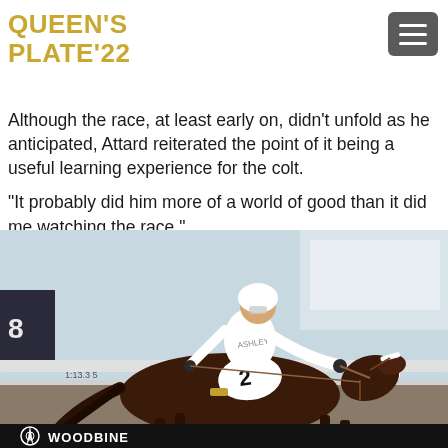QUEEN'S PLATE'22
Although the race, at least early on, didn't unfold as he anticipated, Attard reiterated the point of it being a useful learning experience for the colt.
“It probably did him more of a world of good than it did me watching the race.”
[Figure (photo): A jockey in white silks riding a dark chestnut horse numbered 2, racing at Woodbine racetrack. The Woodbine logo is visible at the bottom of the image.]